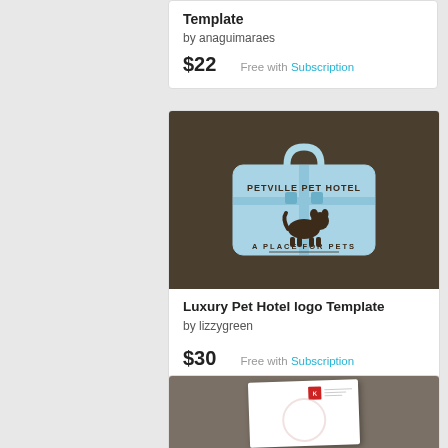Template
by anaguimaraes
$22   Free with Subscription
[Figure (logo): Luxury Pet Hotel logo showing a light blue suitcase with 'PETVILLE PET HOTEL' and 'A PLACE FOR PETS' text and a dog silhouette, on dark brown background]
Luxury Pet Hotel logo Template
by lizzygreen
$30   Free with Subscription
[Figure (photo): Partial view of a letterhead document on a gray-brown background, showing a white paper with a small red logo in the top right corner]